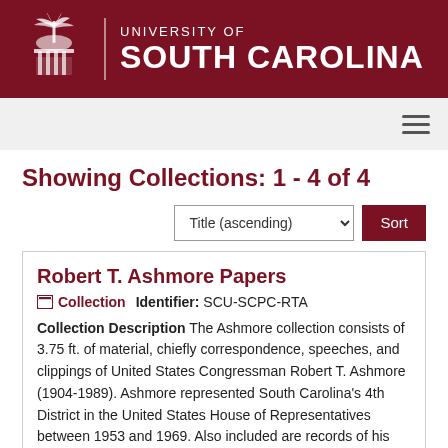[Figure (logo): University of South Carolina logo with palmetto tree emblem and university name in white on dark red background]
Showing Collections: 1 - 4 of 4
Sort control: Title (ascending), Sort button
Robert T. Ashmore Papers
Collection   Identifier: SCU-SCPC-RTA
Collection Description The Ashmore collection consists of 3.75 ft. of material, chiefly correspondence, speeches, and clippings of United States Congressman Robert T. Ashmore (1904-1989). Ashmore represented South Carolina's 4th District in the United States House of Representatives between 1953 and 1969. Also included are records of his